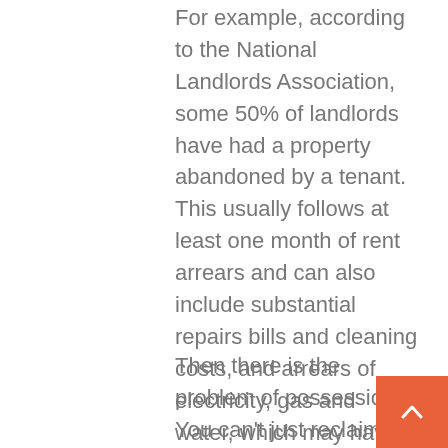For example, according to the National Landlords Association, some 50% of landlords have had a property abandoned by a tenant. This usually follows at least one month of rent arrears and can also include substantial repairs bills and cleaning costs, and arrears of electricity, gas and water, which may have accrued without the landlord's knowledge. So the issue of credit referencing and deposit protection becomes an issue.
Then there is the problem of possession. You can't just reclaim the property, as the tenants are unlikely to have formally relinquished their occupation. So despite having an empty property, you could still have to gain formal possession through the